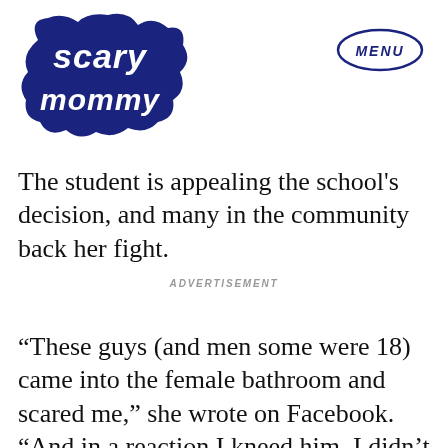Scary Mommy | MENU
The student is appealing the school's decision, and many in the community back her fight.
ADVERTISEMENT
“These guys (and men some were 18) came into the female bathroom and scared me,” she wrote on Facebook. “And in a reaction I kneed him. I didn’t even know what I did till after I